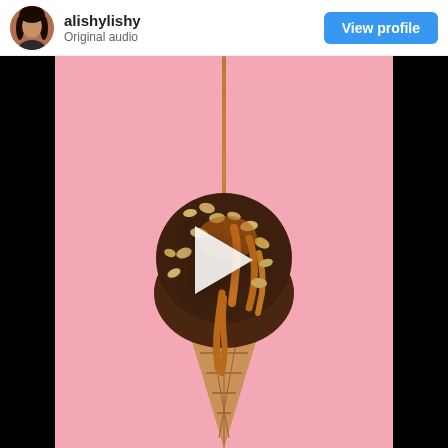alishylishy
Original audio
[Figure (screenshot): Instagram video post showing a chocolate ice cream cone with nuts and caramel drizzle on a pink background, with a play button overlay]
View profile